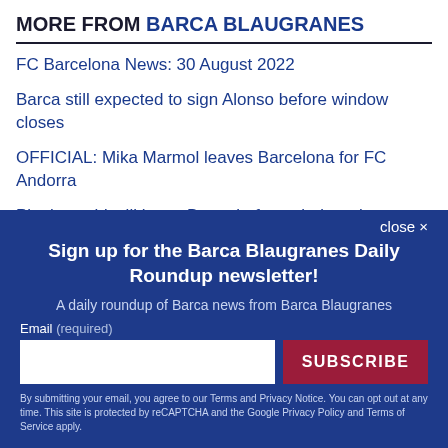MORE FROM BARCA BLAUGRANES
FC Barcelona News: 30 August 2022
Barca still expected to sign Alonso before window closes
OFFICIAL: Mika Marmol leaves Barcelona for FC Andorra
Pjanic could still leave Barca before window closes -
close ×
Sign up for the Barca Blaugranes Daily Roundup newsletter!
A daily roundup of Barca news from Barca Blaugranes
Email (required)
SUBSCRIBE
By submitting your email, you agree to our Terms and Privacy Notice. You can opt out at any time. This site is protected by reCAPTCHA and the Google Privacy Policy and Terms of Service apply.